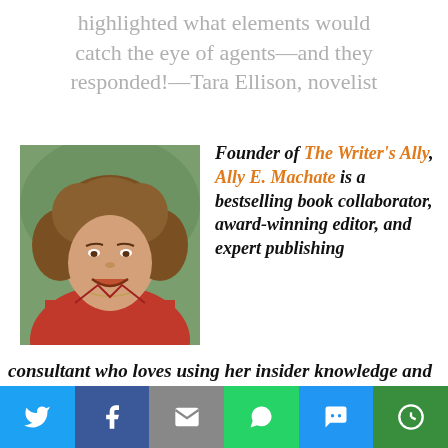highlighted what elements would catch the eye of agents—and they responded!—Tara Ellison, novelist
[Figure (photo): Headshot of Ally E. Machate, a woman with curly brown hair wearing a red shirt, smiling outdoors.]
Founder of The Writer's Ally, Ally E. Machate is a bestselling book collaborator, award-winning editor, and expert publishing consultant who loves using her insider knowledge and experience with the
[Figure (infographic): Social sharing bar with icons for Twitter, Facebook, Email, WhatsApp, SMS, and More.]